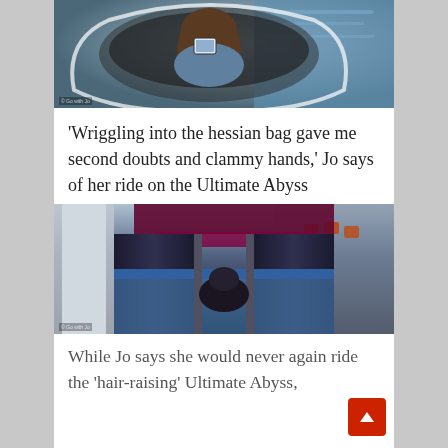[Figure (photo): Overhead view of a person sitting in a water slide pod/capsule, holding a tablet/phone, with ocean water visible in background. Watermark: © Go with Jo]
'Wriggling into the hessian bag gave me second doubts and clammy hands,' Jo says of her ride on the Ultimate Abyss
[Figure (photo): View looking down a dark enclosed slide (Ultimate Abyss), with a person visible inside the slide, blue slide surround and purple structure visible. Watermark: © Go with Jo]
While Jo says she would never again ride the 'hair-raising' Ultimate Abyss,